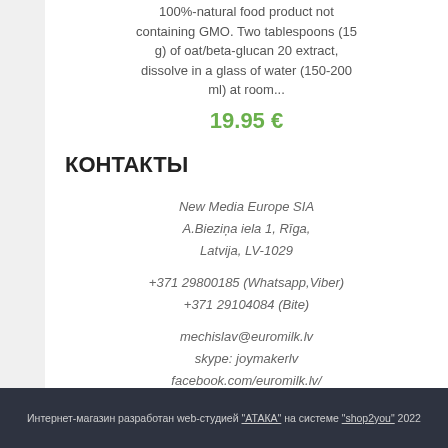100%-natural food product not containing GMO. Two tablespoons (15 g) of oat/beta-glucan 20 extract, dissolve in a glass of water (150-200 ml) at room...
19.95 €
КОНТАКТЫ
New Media Europe SIA
A.Bieziņa iela 1, Rīga,
Latvija, LV-1029
+371 29800185 (Whatsapp,Viber)
+371 29104084 (Bite)
mechislav@euromilk.lv
skype: joymakerlv
facebook.com/euromilk.lv/
Интернет-магазин разработан web-студией "АТАКА" на системе "shop2you" 2022